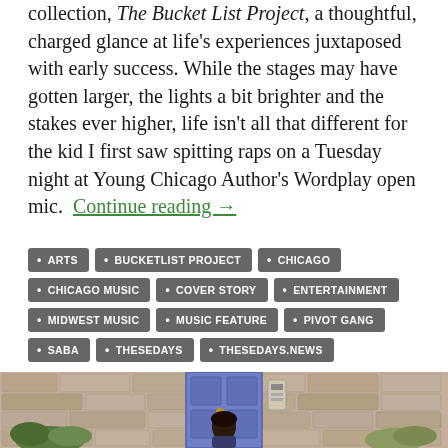collection, The Bucket List Project, a thoughtful, charged glance at life's experiences juxtaposed with early success. While the stages may have gotten larger, the lights a bit brighter and the stakes ever higher, life isn't all that different for the kid I first saw spitting raps on a Tuesday night at Young Chicago Author's Wordplay open mic. Continue reading →
ARTS
BUCKETLIST PROJECT
CHICAGO
CHICAGO MUSIC
COVER STORY
ENTERTAINMENT
MIDWEST MUSIC
MUSIC FEATURE
PIVOT GANG
SABA
THESEDAYS
THESEDAYS.NEWS
[Figure (photo): A person standing in front of a stone wall with a purple door and intercom panel, surrounded by greenery]